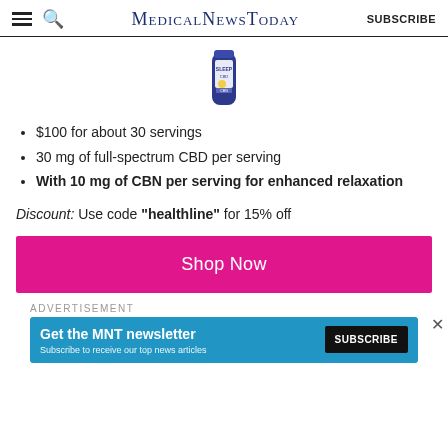MedicalNewsToday | SUBSCRIBE
[Figure (photo): Blue bottle of Sleep CBD product]
$100 for about 30 servings
30 mg of full-spectrum CBD per serving
With 10 mg of CBN per serving for enhanced relaxation
Discount: Use code "healthline" for 15% off
Shop Now
ADVERTISEMENT
Get the MNT newsletter — Subscribe to receive our top news articles. SUBSCRIBE